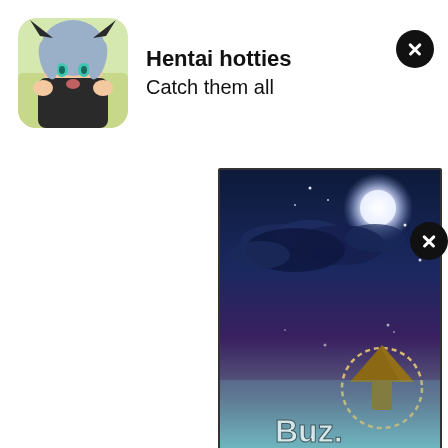[Figure (illustration): App icon showing anime girl character with teal/blue eyes, gray hair, black hoodie, yellow jacket background]
Hentai hotties
Catch them all
[Figure (screenshot): Mobile game screenshot showing night sky with moon, clouds, stars, upward arrow in dotted circle, and 'Buz...' text at bottom — anime game]
[Figure (other): Close button (X) dark circular button top right]
[Figure (other): Close button (X) dark circular button middle right]